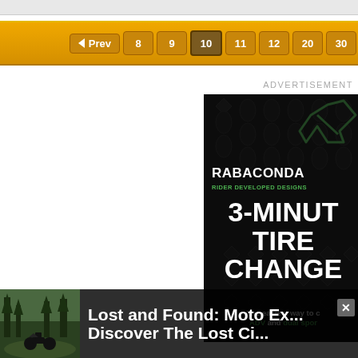Prev  8  9  10  11  12  20  30
ADVERTISEMENT
[Figure (illustration): Rabaconda advertisement banner. Dark background with decorative pattern overlay. Green geometric logo icon top right. Text: RABACONDA, RIDER DEVELOPED DESIGNS, 3-MINUTE TIRE CHANGE, The easiest way to change ADV and dual sport tires.]
[Figure (photo): Small thumbnail image of motorcycle in forest/outdoor setting, bottom left corner]
Lost and Found: Moto Ex... Discover The Lost Ci...